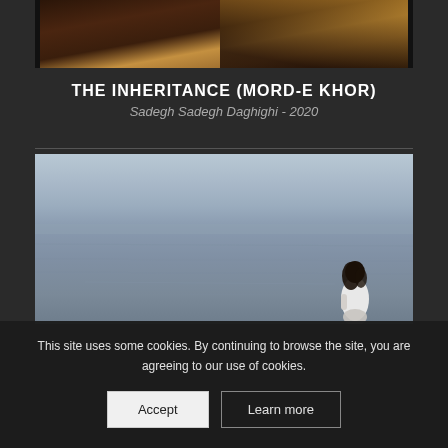[Figure (photo): Dark toned film still showing warm amber and dark brown tones, appears to be an interior scene]
THE INHERITANCE (MORD-E KHOR)
Sadegh Sadegh Daghighi - 2020
[Figure (photo): Film still showing a woman with dark hair in white clothing standing near a calm grey sea or lake, viewed from behind. The water and sky blend in muted blue-grey tones.]
This site uses some cookies. By continuing to browse the site, you are agreeing to our use of cookies.
Accept
Learn more